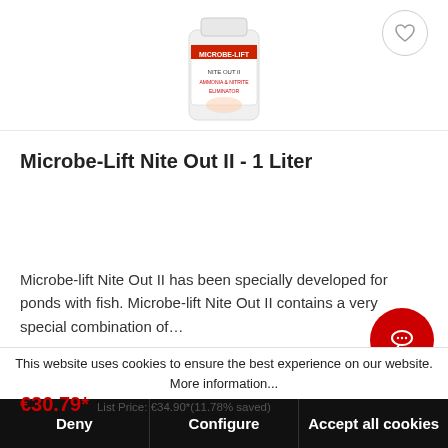[Figure (photo): Product image of Microbe-Lift Nite Out II 1 Liter bottle, white container with red and black label, partially cropped at top]
Microbe-Lift Nite Out II - 1 Liter
Microbe-lift Nite Out II has been specially developed for ponds with fish. Microbe-lift Nite Out II contains a very special combination of…
€30.79*  List Price: €34.90*(11.78% saved)
This website uses cookies to ensure the best experience on our website. More information...